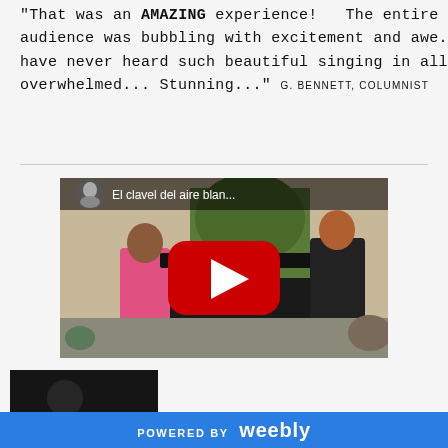"That was an AMAZING experience! The entire audience was bubbling with excitement and awe. I have never heard such beautiful singing in all my life. Such life and clarity [...] I was just kind of overwhelmed... Stunning..." G. BENNETT, COLUMNIST
[Figure (screenshot): YouTube video embed showing 'El clavel del aire blan...' with a pianist in a pink top at a grand piano and a singer in black on the right side, with a YouTube play button overlay. A circular avatar of a woman is shown in the top left of the video thumbnail.]
[Figure (screenshot): Partially visible second video thumbnail showing a dark background with a person visible.]
POWERED BY weebly